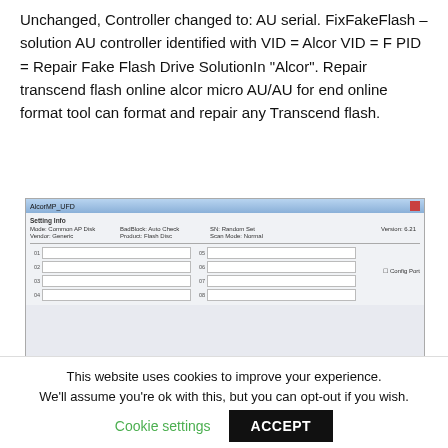Unchanged, Controller changed to: AU serial. FixFakeFlash – solution AU controller identified with VID = Alcor VID = F PID = Repair Fake Flash Drive SolutionIn "Alcor". Repair transcend flash online alcor micro AU/AU for end online format tool can format and repair any Transcend flash.
[Figure (screenshot): Screenshot of AlcorMP_UFD software window showing Setting Info section with Mode: Common AP Disk, Vendor: Generic, BadBlock: Auto Check, Product: Flash Disc, SN: Random Set, Scan Mode: Normal, Version: 6.21. Below are slot input fields numbered 01-04 on left and 05-08 on right, and a Config Port checkbox.]
This website uses cookies to improve your experience. We'll assume you're ok with this, but you can opt-out if you wish. Cookie settings  ACCEPT